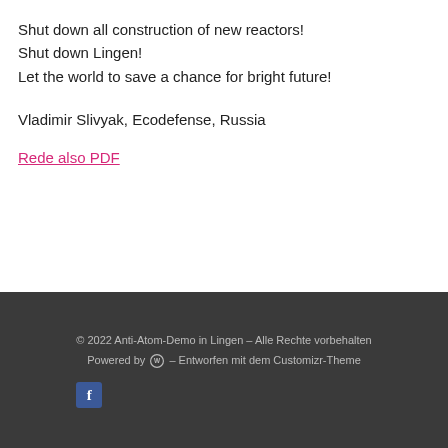Shut down all construction of new reactors!
Shut down Lingen!
Let the world to save a chance for bright future!
Vladimir Slivyak, Ecodefense, Russia
Rede also PDF
© 2022 Anti-Atom-Demo in Lingen – Alle Rechte vorbehalten
Powered by [WP] – Entworfen mit dem Customizr-Theme